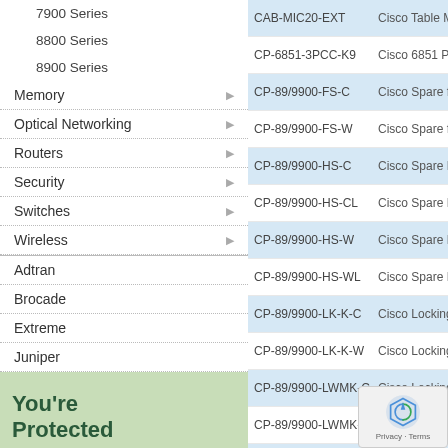7900 Series
8800 Series
8900 Series
Memory
Optical Networking
Routers
Security
Switches
Wireless
Adtran
Brocade
Extreme
Juniper
Nortel
Other
[Figure (photo): You're Protected promotional image with green nature background]
| Product Code | Description |
| --- | --- |
| CAB-MIC20-EXT | Cisco Table Micro |
| CP-6851-3PCC-K9 | Cisco 6851 Phon |
| CP-89/9900-FS-C | Cisco Spare foots |
| CP-89/9900-FS-W | Cisco Spare foots |
| CP-89/9900-HS-C | Cisco Spare Han |
| CP-89/9900-HS-CL | Cisco Spare Han |
| CP-89/9900-HS-W | Cisco Spare Han |
| CP-89/9900-HS-WL | Cisco Spare Han |
| CP-89/9900-LK-K-C | Cisco Locking Wa |
| CP-89/9900-LK-K-W | Cisco Locking Wa |
| CP-89/9900-LWMK-C | Cisco Locking Wa |
| CP-89/9900-LWMK-W | Cisco Locking Wa |
| CP-9951-C-CH-K9 | Cisco Unified IP |
| CP-9951-C-K9 | Cisco |
| CP-9951-CL-K9 | Cisco Unified IP |